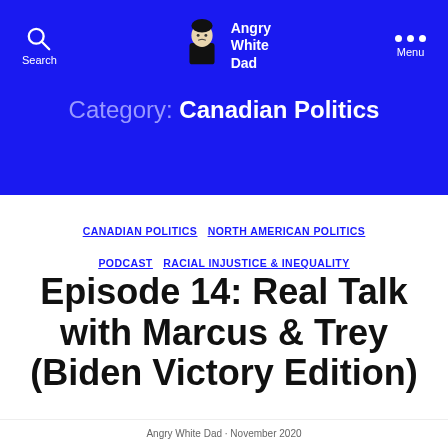Angry White Dad — Search / Menu navigation
Category: Canadian Politics
CANADIAN POLITICS  NORTH AMERICAN POLITICS  PODCAST  RACIAL INJUSTICE & INEQUALITY
Episode 14: Real Talk with Marcus & Trey (Biden Victory Edition)